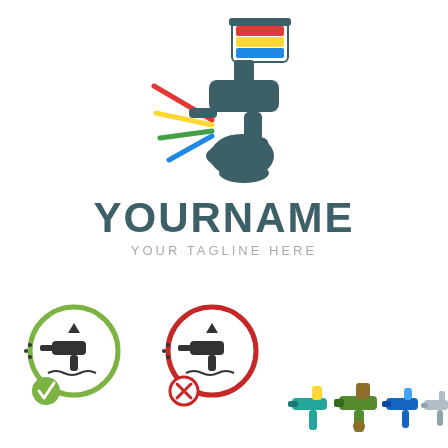[Figure (logo): Spray paint gun logo with colorful paint streams and hand holding the gun, above brand name YOURNAME and tagline YOUR TAGLINE HERE]
YOURNAME
YOUR TAGLINE HERE
[Figure (illustration): Green circle icon with spray gun and checkmark — approved/correct spray painting icon]
[Figure (illustration): Red circle icon with spray gun and X mark — rejected/incorrect spray painting icon]
[Figure (illustration): 3D stylized spray gun illustration in blue, teal and red colors on gray background]
[Figure (illustration): Dark gray circle icon with spray gun — partially visible at bottom]
[Figure (illustration): Dark gray circle with spray gun and diagonal slash — no spray icon, partially visible at bottom]
[Figure (photo): Photo of multiple spray gun tools in various styles and colors — partially visible at bottom right]